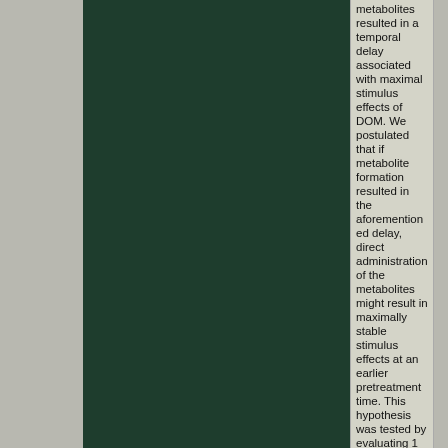[Figure (photo): Dark green/teal colored image panel occupying the left-center portion of the page]
metabolites resulted in a temporal delay associated with maximal stimulus effects of DOM. We postulated that if metabolite formation resulted in the aforementioned delay, direct administration of the metabolites might result in maximally stable stimulus effects at an earlier pretreatment time. This hypothesis was tested by evaluating 1 the time point at which DOM produces the greatest degree of LSD-appropriate responding, 2 the involvement of 5